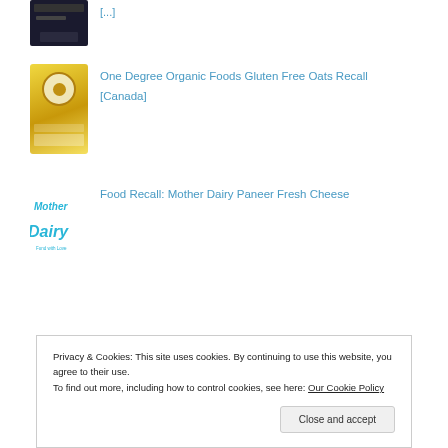[Figure (photo): Partially cropped dark electronic device image at top]
[Figure (photo): One Degree Organic Foods Gluten Free Oats product bag - yellow packaging]
One Degree Organic Foods Gluten Free Oats Recall [Canada]
[Figure (logo): Mother Dairy logo in cyan/blue lettering]
Food Recall: Mother Dairy Paneer Fresh Cheese
Privacy & Cookies: This site uses cookies. By continuing to use this website, you agree to their use.
To find out more, including how to control cookies, see here: Our Cookie Policy